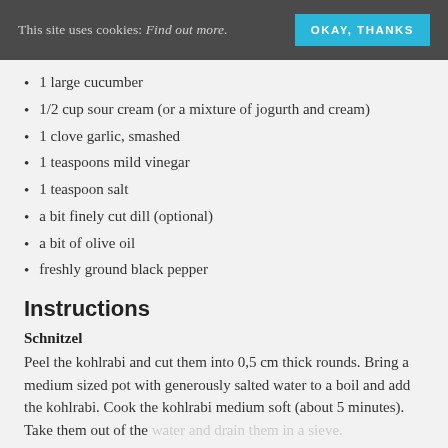This site uses cookies: Find out more. OKAY, THANKS
1 large cucumber
1/2 cup sour cream (or a mixture of jogurth and cream)
1 clove garlic, smashed
1 teaspoons mild vinegar
1 teaspoon salt
a bit finely cut dill (optional)
a bit of olive oil
freshly ground black pepper
Instructions
Schnitzel
Peel the kohlrabi and cut them into 0,5 cm thick rounds. Bring a medium sized pot with generously salted water to a boil and add the kohlrabi. Cook the kohlrabi medium soft (about 5 minutes). Take them out of the water and drain them in a sieve.